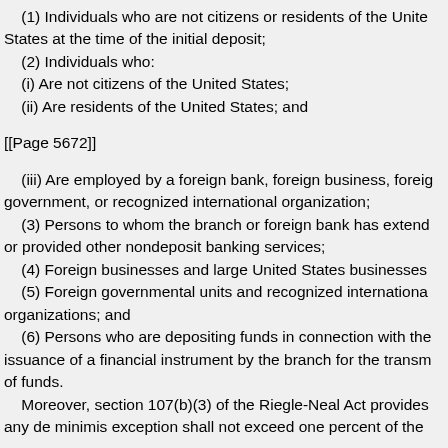(1) Individuals who are not citizens or residents of the United States at the time of the initial deposit;
(2) Individuals who:
(i) Are not citizens of the United States;
(ii) Are residents of the United States; and
[[Page 5672]]
(iii) Are employed by a foreign bank, foreign business, foreign government, or recognized international organization;
(3) Persons to whom the branch or foreign bank has extended or provided other nondeposit banking services;
(4) Foreign businesses and large United States businesses
(5) Foreign governmental units and recognized international organizations; and
(6) Persons who are depositing funds in connection with the issuance of a financial instrument by the branch for the transmission of funds.
Moreover, section 107(b)(3) of the Riegle-Neal Act provides any de minimis exception shall not exceed one percent of the